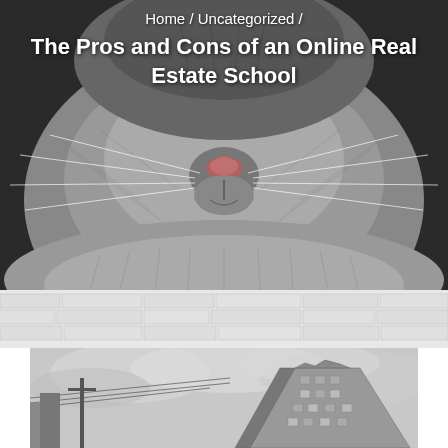[Figure (photo): Close-up black and white photo of a cat's face, showing the nose, whiskers, and lower fur. The image fills the top portion of the page.]
Home / Uncategorized /
The Pros and Cons of an Online Real Estate School
[Figure (photo): Faint/light brick wall texture pattern in a light gray background middle section.]
[Figure (photo): Black and white photograph of a building viewed from below at an angle, with power lines and a cloudy sky in the background.]